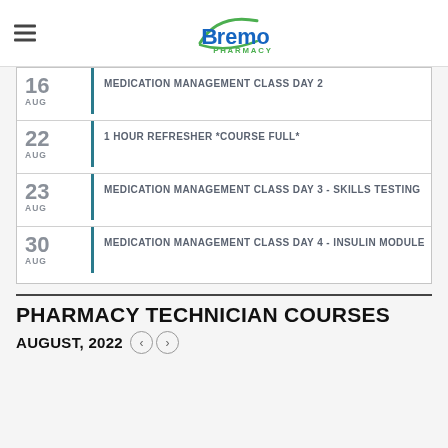Bremo Pharmacy
16 AUG - MEDICATION MANAGEMENT CLASS DAY 2
22 AUG - 1 HOUR REFRESHER *COURSE FULL*
23 AUG - MEDICATION MANAGEMENT CLASS DAY 3 - SKILLS TESTING
30 AUG - MEDICATION MANAGEMENT CLASS DAY 4 - INSULIN MODULE
PHARMACY TECHNICIAN COURSES
AUGUST, 2022